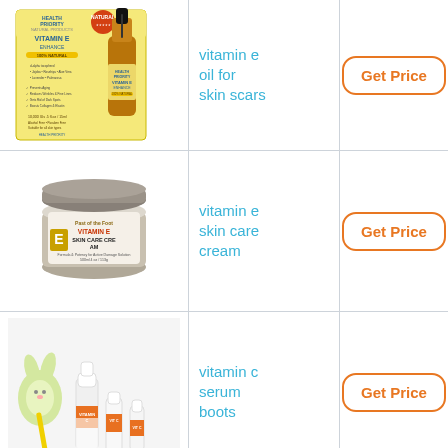[Figure (photo): Vitamin E Enhance oil product with dropper bottle, Health Priority Natural Products brand]
vitamin e oil for skin scars
Get Price
[Figure (photo): Past of the Foot Vitamin E Skin Care Cream jar, 4 oz]
vitamin e skin care cream
Get Price
[Figure (photo): Vitamin C serum bottles with bunny toy decoration on white background]
vitamin c serum boots
Get Price